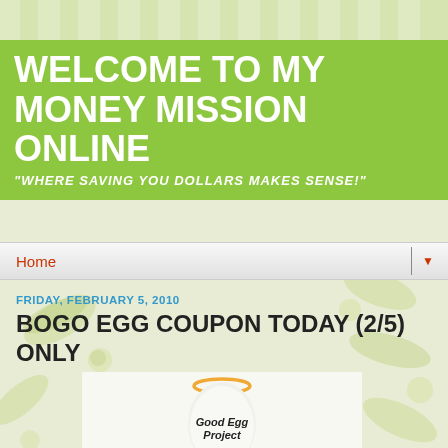[Figure (illustration): Background with light green/olive leaf and fruit pattern on cream background with vertical stripes at top]
WELCOME TO MY MONEY MISSION ONLINE
"WHERE SAVING YOU DOLLARS MAKES SENSE!"
Home ▼
FRIDAY, FEBRUARY 5, 2010
BOGO EGG COUPON TODAY (2/5) ONLY
[Figure (photo): Good Egg Project logo: a white egg shape with an orange halo on top and the text 'Good Egg Project' written in italic script on the egg body]